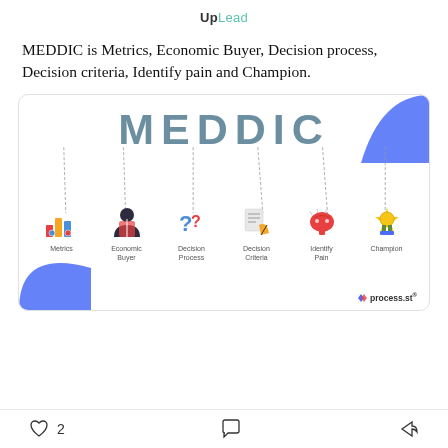UpLead
MEDDIC is Metrics, Economic Buyer, Decision process, Decision criteria, Identify pain and Champion.
[Figure (infographic): MEDDIC framework infographic showing the acronym M-E-D-D-I-C with dashed lines pointing to six icons below: Metrics (bar chart icon), Economic Buyer (person icon), Decision Process (question marks icon), Decision Criteria (checklist/pen icon), Identify Pain (brain icon), Champion (medal icon). Blue decorative corners top-right and bottom-left. process.st branding at bottom-right.]
2